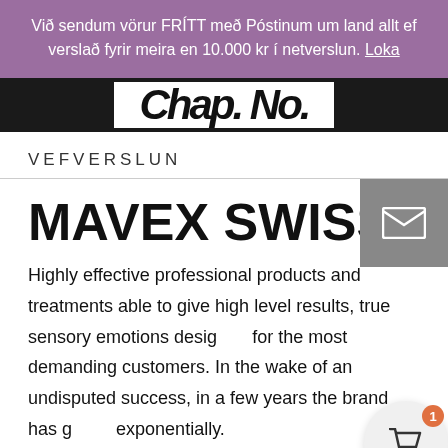Við sendum vörur FRÍTT með Póstinum um land allt ef verslað fyrir meira en 10.000 kr í netverslun. Loka
[Figure (screenshot): Partial hero image showing stylized brand logo text on white background within dark bar]
VEFVERSLUN
MAVEX SWISS
Highly effective professional products and treatments able to give high level results, true sensory emotions designed for the most demanding customers. In the wake of an undisputed success, in a few years the brand has grown exponentially.